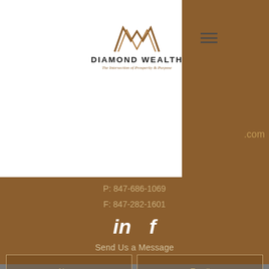[Figure (logo): Diamond Wealth logo with stylized W mark, brand name DIAMOND WEALTH, and tagline The Intersection of Prosperity & Purpose]
.com
P: 847-686-1069
F: 847-282-1601
[Figure (illustration): LinkedIn (in) and Facebook (f) social media icons in white]
Send Us a Message
Name
Email
Type your message here...